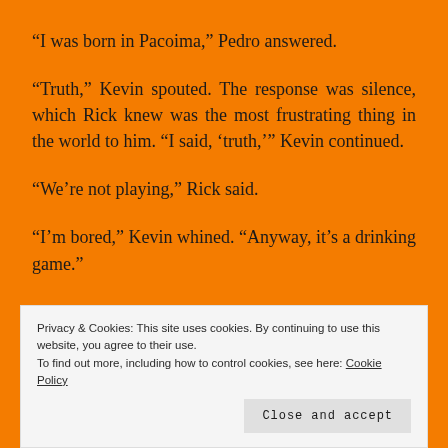“I was born in Pacoima,” Pedro answered.
“Truth,” Kevin spouted. The response was silence, which Rick knew was the most frustrating thing in the world to him. “I said, ‘truth,’” Kevin continued.
“We’re not playing,” Rick said.
“I’m bored,” Kevin whined. “Anyway, it’s a drinking game.”
Privacy & Cookies: This site uses cookies. By continuing to use this website, you agree to their use.
To find out more, including how to control cookies, see here: Cookie Policy